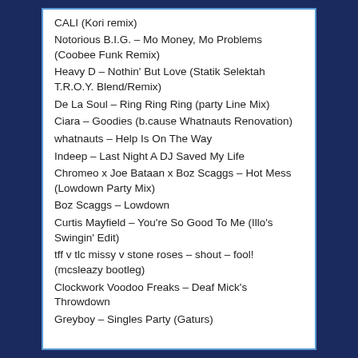CALI (Kori remix)
Notorious B.I.G. – Mo Money, Mo Problems (Coobee Funk Remix)
Heavy D – Nothin' But Love (Statik Selektah T.R.O.Y. Blend/Remix)
De La Soul – Ring Ring Ring (party Line Mix)
Ciara – Goodies (b.cause Whatnauts Renovation)
whatnauts – Help Is On The Way
Indeep – Last Night A DJ Saved My Life
Chromeo x Joe Bataan x Boz Scaggs – Hot Mess (Lowdown Party Mix)
Boz Scaggs – Lowdown
Curtis Mayfield – You're So Good To Me (Illo's Swingin' Edit)
tff v tlc missy v stone roses – shout – fool! (mcsleazy bootleg)
Clockwork Voodoo Freaks – Deaf Mick's Throwdown
Greyboy – Singles Party (Gaturs)